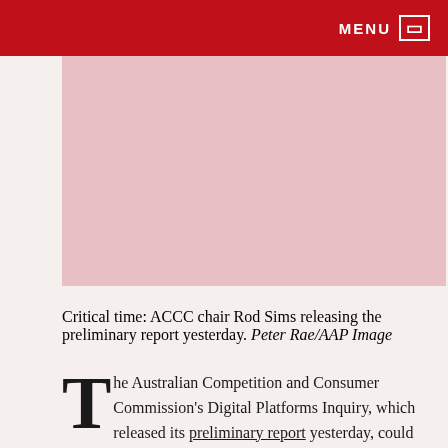MENU
[Figure (photo): Photo placeholder: ACCC chair Rod Sims releasing the preliminary report. Pink/light red background.]
Critical time: ACCC chair Rod Sims releasing the preliminary report yesterday. Peter Rae/AAP Image
The Australian Competition and Consumer Commission's Digital Platforms Inquiry, which released its preliminary report yesterday, could be a game changer for journalism and media regulation in Australia. It is also of international significance: the ACCC has signalled its intention to work with the OECD and other international agencies to kickstart an international law-making effort to regulate Google, Facebook and their successors.